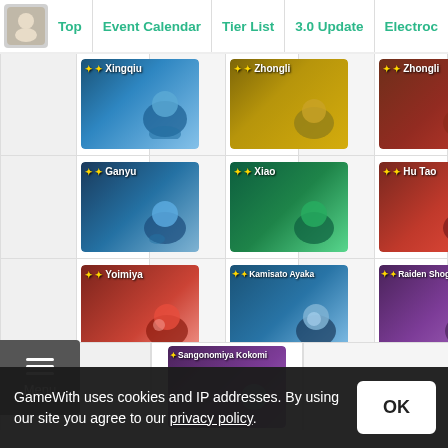Top | Event Calendar | Tier List | 3.0 Update | Electroc
[Figure (screenshot): Grid of Genshin Impact character cards including Xingqiu, Zhongli (x2), Ganyu, Xiao, Hu Tao, Yoimiya, Kamisato Ayaka, Raiden Shogun, Sangonomiya Kokomi, Arataki Itto, Kaedehara Kazuha, Raiden Shogun, Yae Miko, Kamisato Ayaka]
GameWith uses cookies and IP addresses. By using our site you agree to our privacy policy.